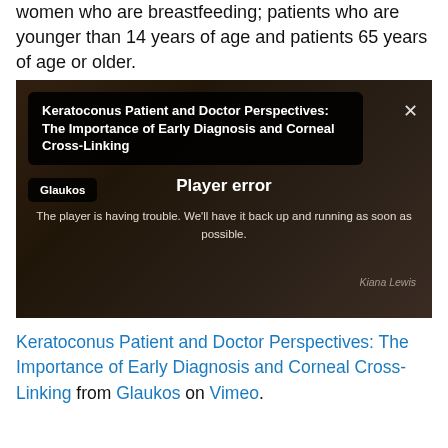women who are breastfeeding; patients who are younger than 14 years of age and patients 65 years of age or older.
[Figure (screenshot): Embedded Vimeo video player showing a player error overlay. The video title bar reads 'Keratoconus Patient and Doctor Perspectives: The Importance of Early Diagnosis and Corneal Cross-Linking' with a Glaukos badge. The player error message reads 'Player error — The player is having trouble. We'll have it back up and running as soon as possible.' A watermark in the lower right shows 'Kiana Lewis'.]
Keratoconus Patient and Doctor Perspectives: The Importance of Early Diagnosis and Corneal Cross-Linking from Glaukos on Vimeo.